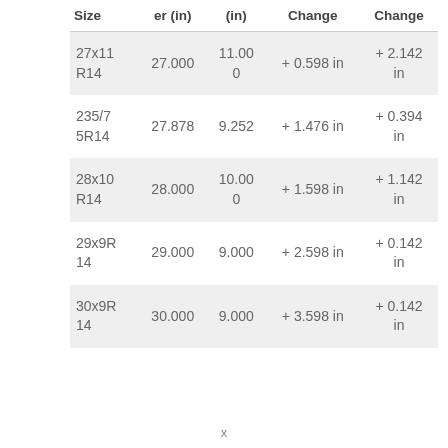| Size | er (in) | (in) | Change | Change |
| --- | --- | --- | --- | --- |
| 27x11 R14 | 27.000 | 11.000 | + 0.598 in | + 2.142 in |
| 235/75R14 | 27.878 | 9.252 | + 1.476 in | + 0.394 in |
| 28x10 R14 | 28.000 | 10.000 | + 1.598 in | + 1.142 in |
| 29x9R 14 | 29.000 | 9.000 | + 2.598 in | + 0.142 in |
| 30x9R 14 | 30.000 | 9.000 | + 3.598 in | + 0.142 in |